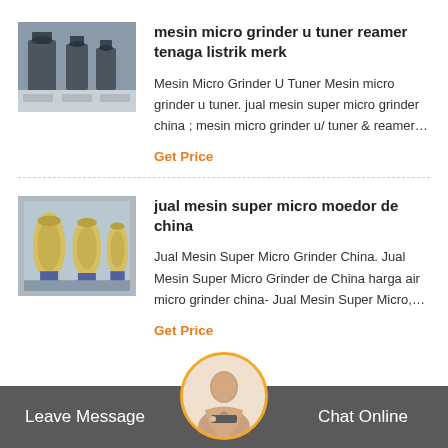[Figure (photo): Industrial grinding machines in a factory setting]
mesin micro grinder u tuner reamer tenaga listrik merk
Mesin Micro Grinder U Tuner Mesin micro grinder u tuner. jual mesin super micro grinder china ; mesin micro grinder u/ tuner & reamer…
Get Price
[Figure (photo): Yellow industrial grinding/crushing machines outside]
jual mesin super micro moedor de china
Jual Mesin Super Micro Grinder China. Jual Mesin Super Micro Grinder de China harga air micro grinder china- Jual Mesin Super Micro,…
Get Price
Leave Message   Chat Online